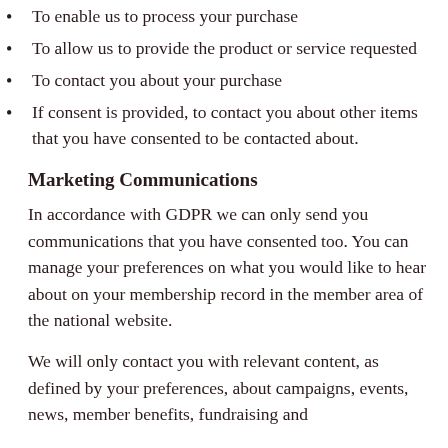To enable us to process your purchase
To allow us to provide the product or service requested
To contact you about your purchase
If consent is provided, to contact you about other items that you have consented to be contacted about.
Marketing Communications
In accordance with GDPR we can only send you communications that you have consented too. You can manage your preferences on what you would like to hear about on your membership record in the member area of the national website.
We will only contact you with relevant content, as defined by your preferences, about campaigns, events, news, member benefits, fundraising and